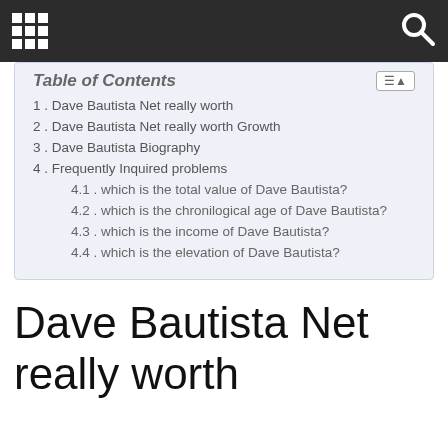[grid icon] [search icon]
1. Dave Bautista Net really worth
2. Dave Bautista Net really worth Growth
3. Dave Bautista Biography
4. Frequently Inquired problems
4.1. which is the total value of Dave Bautista?
4.2. which is the chronilogical age of Dave Bautista?
4.3. which is the income of Dave Bautista?
4.4. which is the elevation of Dave Bautista?
Dave Bautista Net really worth